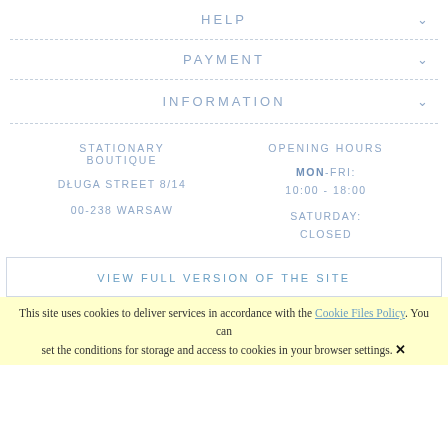HELP
PAYMENT
INFORMATION
STATIONARY BOUTIQUE
DŁUGA STREET 8/14
00-238 WARSAW
OPENING HOURS
MON-FRI:
10:00 - 18:00
SATURDAY:
CLOSED
VIEW FULL VERSION OF THE SITE
This site uses cookies to deliver services in accordance with the Cookie Files Policy. You can set the conditions for storage and access to cookies in your browser settings. ✕